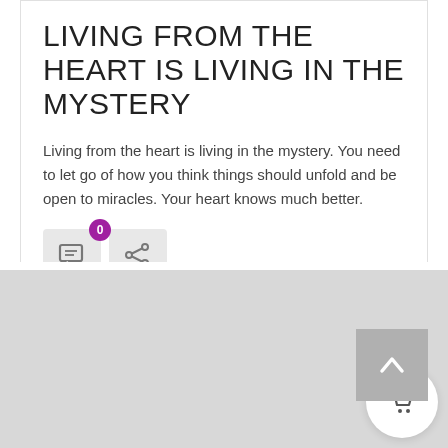LIVING FROM THE HEART IS LIVING IN THE MYSTERY
Living from the heart is living in the mystery. You need to let go of how you think things should unfold and be open to miracles. Your heart knows much better.
[Figure (infographic): Comment icon button with purple badge showing 0, and a share icon button]
▶ READ MORE
[Figure (infographic): Grey up-arrow scroll-to-top button in bottom right of card]
[Figure (infographic): Light grey footer section with a white circular cart button, orange badge showing 0, and shopping cart icon]